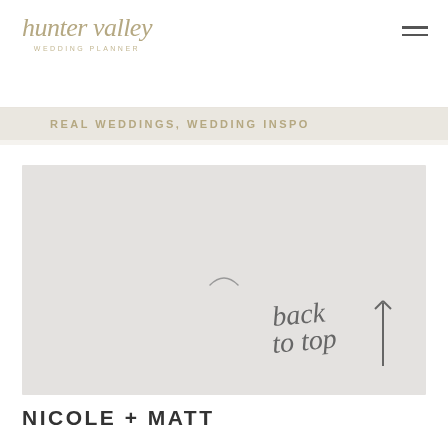hunter valley WEDDING PLANNER
REAL WEDDINGS, WEDDING INSPO
[Figure (photo): Large image placeholder with loading spinner icon (light grey rectangle with a spinner icon in the center), with a hand-lettered 'back to top ↑' annotation in the lower right corner]
NICOLE + MATT